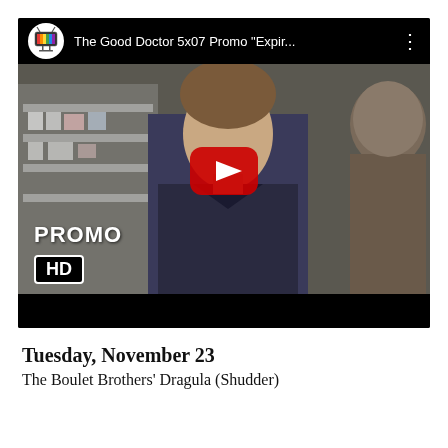[Figure (screenshot): YouTube video thumbnail/player showing The Good Doctor 5x07 Promo 'Expir...' with a young doctor in scrubs facing an older man in a medical supply room. PROMO text and HD badge visible in lower left. YouTube play button in center. Dark top bar with channel logo and video title.]
Tuesday, November 23
The Boulet Brothers' Dragula (Shudder)